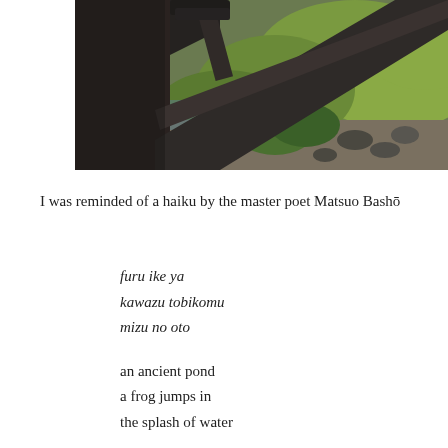[Figure (photo): A photograph taken from inside a traditional Japanese building, looking out through a wooden lattice/rafter structure (dark brown wood) toward a lush green garden with moss, rocks, and leafy plants. The wooden beams and eaves are visible in the foreground.]
I was reminded of a haiku by the master poet Matsuo Bashō
furu ike ya
kawazu tobikomu
mizu no oto

an ancient pond
a frog jumps in
the splash of water